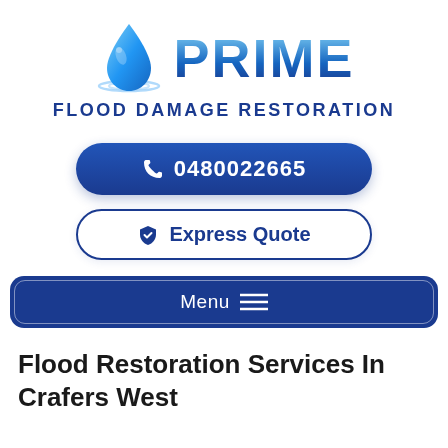[Figure (logo): Prime Flood Damage Restoration logo with a blue water drop icon and the text PRIME in large gradient blue letters, with FLOOD DAMAGE RESTORATION in bold dark blue below]
[Figure (other): Phone call button with phone icon and number 0480022665 on dark blue rounded pill background]
[Figure (other): Express Quote button with shield checkmark icon on white rounded pill with dark blue border]
[Figure (other): Dark blue navigation menu bar with Menu text and hamburger lines icon, white border inner rounded rectangle]
Flood Restoration Services In Crafers West